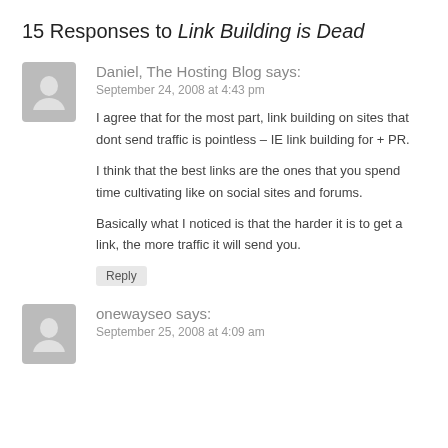15 Responses to Link Building is Dead
Daniel, The Hosting Blog says:
September 24, 2008 at 4:43 pm

I agree that for the most part, link building on sites that dont send traffic is pointless – IE link building for + PR.

I think that the best links are the ones that you spend time cultivating like on social sites and forums.

Basically what I noticed is that the harder it is to get a link, the more traffic it will send you.
onewayseo says:
September 25, 2008 at 4:09 am